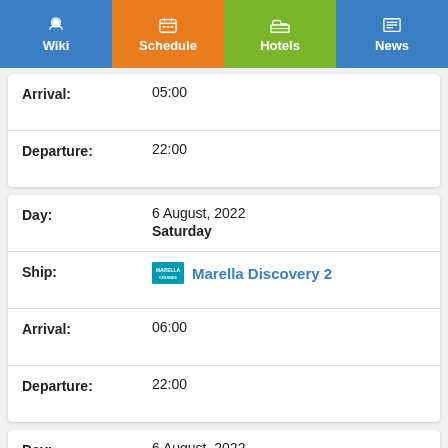Wiki | Schedule | Hotels | News
| Field | Value |
| --- | --- |
| Arrival: | 05:00 |
| Departure: | 22:00 |
| Field | Value |
| --- | --- |
| Day: | 6 August, 2022
Saturday |
| Ship: | Marella Discovery 2 |
| Arrival: | 06:00 |
| Departure: | 22:00 |
| Field | Value |
| --- | --- |
| Day: | 6 August, 2022
Saturday |
| Ship: | Norwegian Epic |